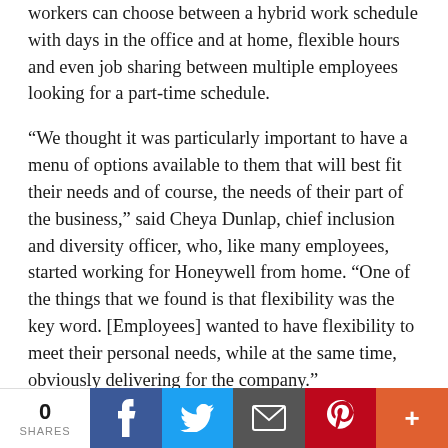workers can choose between a hybrid work schedule with days in the office and at home, flexible hours and even job sharing between multiple employees looking for a part-time schedule.
“We thought it was particularly important to have a menu of options available to them that will best fit their needs and of course, the needs of their part of the business,” said Cheya Dunlap, chief inclusion and diversity officer, who, like many employees, started working for Honeywell from home. “One of the things that we found is that flexibility was the key word. [Employees] wanted to have flexibility to meet their personal needs, while at the same time, obviously delivering for the company.”
The now-annual survey was introduced last year at
0 SHARES | Facebook | Twitter | Email | Pinterest | More